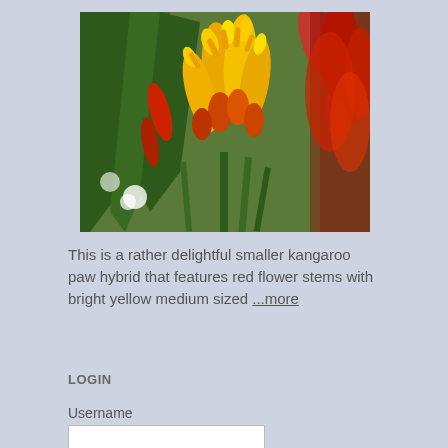[Figure (photo): Photograph of kangaroo paw hybrid plants with yellow and red flowers against green foliage background]
This is a rather delightful smaller kangaroo paw hybrid that features red flower stems with bright yellow medium sized ...more
LOGIN
Username